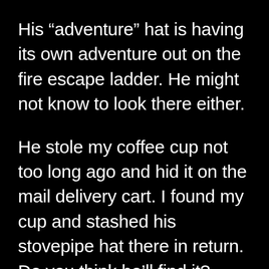His “adventure” hat is having its own adventure out on the fire escape ladder. He might not know to look there either.
He stole my coffee cup not too long ago and hid it on the mail delivery cart. I found my cup and stashed his stovepipe hat there in return. Do you think he’ll find it?
His Cake hat? I bet you can guess